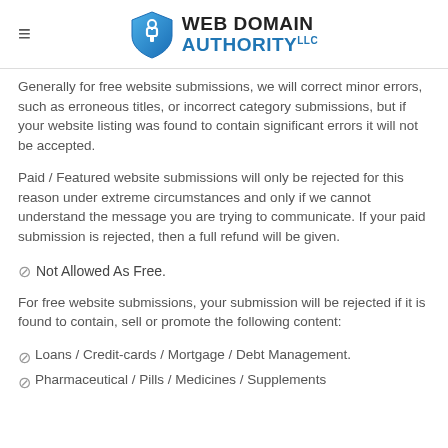WEB DOMAIN AUTHORITY LLC
Generally for free website submissions, we will correct minor errors, such as erroneous titles, or incorrect category submissions, but if your website listing was found to contain significant errors it will not be accepted.
Paid / Featured website submissions will only be rejected for this reason under extreme circumstances and only if we cannot understand the message you are trying to communicate. If your paid submission is rejected, then a full refund will be given.
🚫 Not Allowed As Free.
For free website submissions, your submission will be rejected if it is found to contain, sell or promote the following content:
Loans / Credit-cards / Mortgage / Debt Management.
Pharmaceutical / Pills / Medicines / Supplements